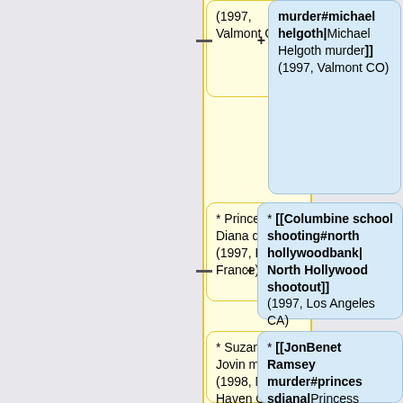(1997, Valmont CO)
murder#michaelhelgoth|Michael Helgoth murder]] (1997, Valmont CO)
* Princess Diana death (1997, Paris, France)
* [[Columbine school shooting#northhollywoodbank|North Hollywood shootout]] (1997, Los Angeles CA)
* Suzanne Jovin murder (1998, New Haven CT)
* [[JonBenet Ramsey murder#princesdiana|Princess Diana death]] (1997, Paris, France)